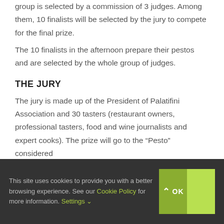group is selected by a commission of 3 judges. Among them, 10 finalists will be selected by the jury to compete for the final prize.
The 10 finalists in the afternoon prepare their pestos and are selected by the whole group of judges.
THE JURY
The jury is made up of the President of Palatifini Association and 30 tasters (restaurant owners, professional tasters, food and wine journalists and expert cooks). The prize will go to the “Pesto” considered
This site uses cookies to provide you with a better browsing experience. See our Cookie Policy for more information. Settings ∨
⌃ OK